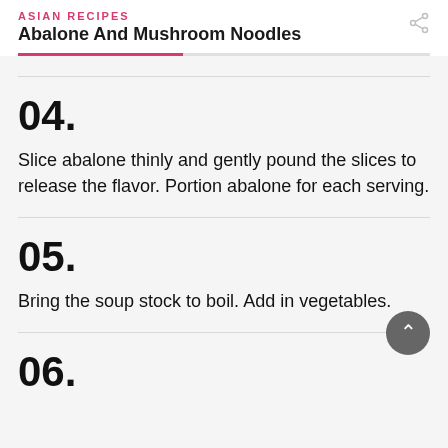ASIAN RECIPES
Abalone And Mushroom Noodles
04.
Slice abalone thinly and gently pound the slices to release the flavor. Portion abalone for each serving.
05.
Bring the soup stock to boil. Add in vegetables.
06.